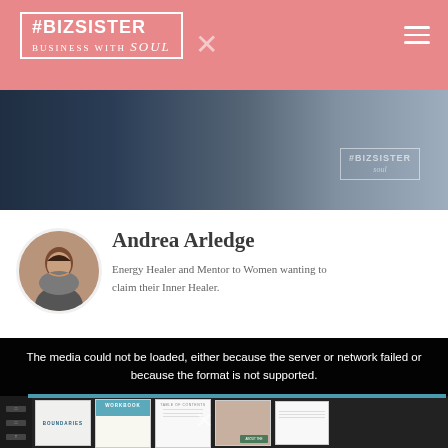#BIZSISTER BUSINESS WITH soul
[Figure (photo): Hero photo showing hands on a laptop/document, dark background]
[Figure (photo): Circular avatar photo of Andrea Arledge, a woman with dark hair smiling]
Andrea Arledge
Energy Healer and Mentor to Women wanting to claim their Inner Healer.
[Figure (screenshot): Video player showing error message: The media could not be loaded, either because the server or network failed or because the format is not supported. Below shows product thumbnails including a BOUNDARIES workbook and other digital products.]